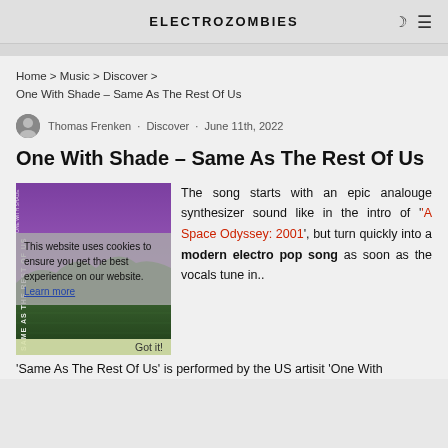ELECTROZOMBIES
Home > Music > Discover > One With Shade – Same As The Rest Of Us
Thomas Frenken · Discover · June 11th, 2022
One With Shade – Same As The Rest Of Us
[Figure (photo): Album art for 'Same As The Rest Of Us' by One With Shade – purple/green landscape image with vertical text reading 'SAME AS THE REST OF US']
The song starts with an epic analouge synthesizer sound like in the intro of 'A Space Odyssey: 2001', but turn quickly into a modern electro pop song as soon as the vocals tune in.. 'Same As The Rest Of Us' is performed by the US artisit 'One With